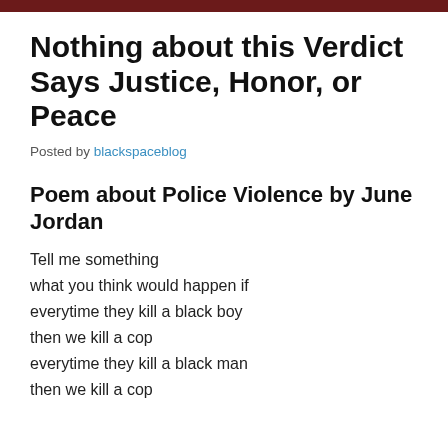Nothing about this Verdict Says Justice, Honor, or Peace
Posted by blackspaceblog
Poem about Police Violence by June Jordan
Tell me something
what you think would happen if
everytime they kill a black boy
then we kill a cop
everytime they kill a black man
then we kill a cop